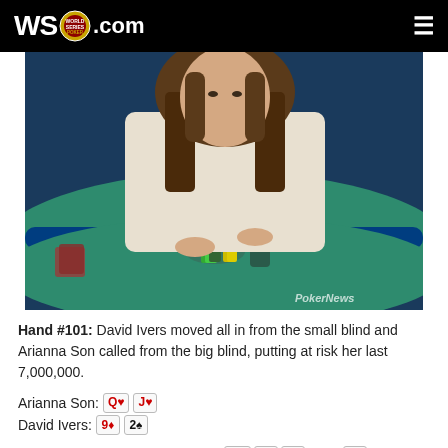WSOP.COM
[Figure (photo): Female poker player at a casino poker table with teal felt, surrounded by poker chips, with PokerGO branding visible. PokerNews watermark in lower right.]
Hand #101: David Ivers moved all in from the small blind and Arianna Son called from the big blind, putting at risk her last 7,000,000.
Arianna Son: Q♥ J♥
David Ivers: 9♦ 2♠
Ivers hit a pretty favorable flop of A♣ 9♣ 6♦. The 7♠ turn